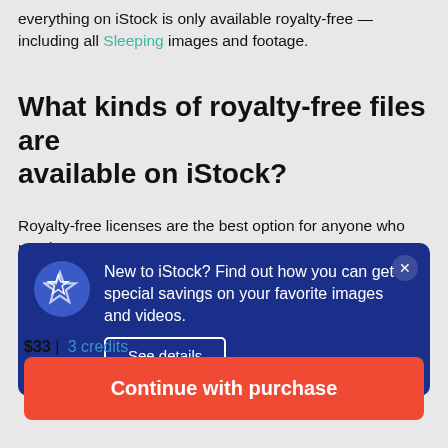everything on iStock is only available royalty-free — including all Sleeping images and footage.
What kinds of royalty-free files are available on iStock?
Royalty-free licenses are the best option for anyone who needs
[Figure (infographic): Dark blue promotional banner with star icon. Text: 'New to iStock? Find out how you can get special savings on your favorite images and videos.' with a 'See details' button and close (x) button.]
$33 | 3 credits
Continue with purchase